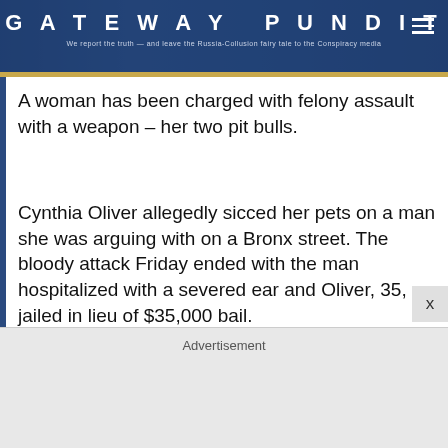GATEWAY PUNDIT — We report the truth — and leave the Russia-Collusion fairy tale to the Conspiracy media
A woman has been charged with felony assault with a weapon – her two pit bulls.
Cynthia Oliver allegedly sicced her pets on a man she was arguing with on a Bronx street. The bloody attack Friday ended with the man hospitalized with a severed ear and Oliver, 35, jailed in lieu of $35,000 bail.
Advertisement